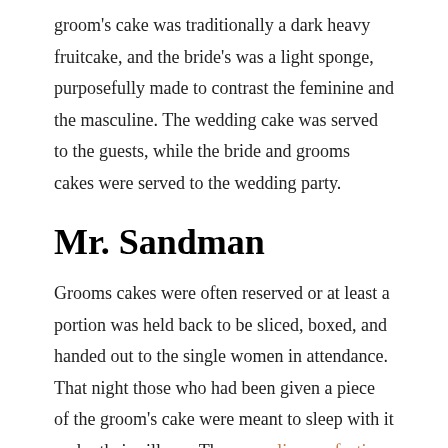groom's cake was traditionally a dark heavy fruitcake, and the bride's was a light sponge, purposefully made to contrast the feminine and the masculine. The wedding cake was served to the guests, while the bride and grooms cakes were served to the wedding party.
Mr. Sandman
Grooms cakes were often reserved or at least a portion was held back to be sliced, boxed, and handed out to the single women in attendance. That night those who had been given a piece of the groom's cake were meant to sleep with it under their pillows. The masculine confection would then send them dreams of their own future husbands.